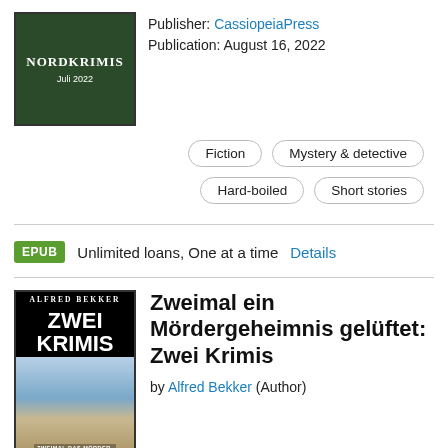[Figure (illustration): Book cover for Nordkrimis Juli 2022, dark green background with white text]
Publisher: CassiopeiaPress
Publication: August 16, 2022
Fiction
Mystery & detective
Hard-boiled
Short stories
EPUB  Unlimited loans, One at a time  Details
[Figure (illustration): Book cover for Zweimal ein Mördergeheimnis gelüftet: Zwei Krimis by Alfred Bekker, showing beach scene]
Zweimal ein Mördergeheimnis gelüftet: Zwei Krimis
by Alfred Bekker (Author)